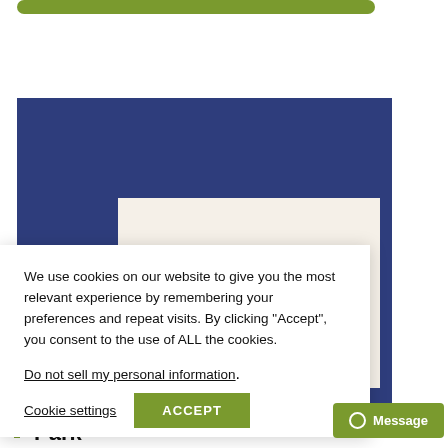[Figure (screenshot): Green rounded top bar element at the top of a website]
[Figure (screenshot): Dark navy blue rectangular background block representing a webpage section]
We use cookies on our website to give you the most relevant experience by remembering your preferences and repeat visits. By clicking “Accept”, you consent to the use of ALL the cookies.
Do not sell my personal information.
Cookie settings
ACCEPT
Message
Park